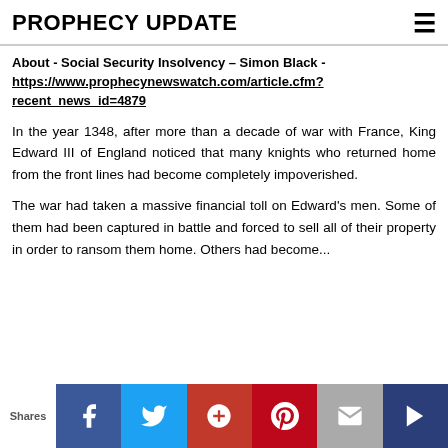PROPHECY UPDATE
About - Social Security Insolvency – Simon Black - https://www.prophecynewswatch.com/article.cfm?recent_news_id=4879
In the year 1348, after more than a decade of war with France, King Edward III of England noticed that many knights who returned home from the front lines had become completely impoverished.
The war had taken a massive financial toll on Edward's men. Some of them had been captured in battle and forced to sell all of their property in order to ransom them home. Others had become...